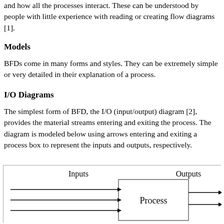and how all the processes interact. These can be understood by people with little experience with reading or creating flow diagrams [1].
Models
BFDs come in many forms and styles. They can be extremely simple or very detailed in their explanation of a process.
I/O Diagrams
The simplest form of BFD, the I/O (input/output) diagram [2], provides the material streams entering and exiting the process. The diagram is modeled below using arrows entering and exiting a process box to represent the inputs and outputs, respectively.
[Figure (flowchart): I/O diagram showing arrows labeled Inputs entering a Process box from the left, and arrows labeled Outputs exiting the Process box to the right.]